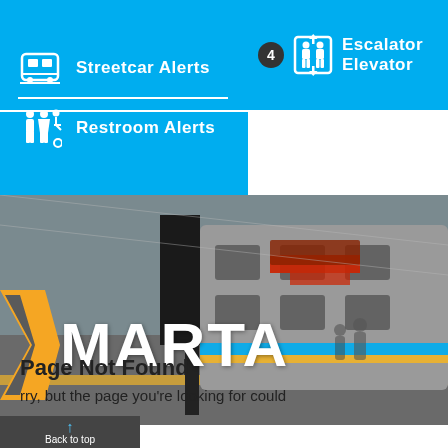[Figure (screenshot): MARTA website navigation menu fragment showing cyan/blue menu bar with icons: Streetcar Alerts (left column top), Restroom Alerts (left column bottom), and Escalator Elevator with badge number 4 (right column). Below is a MARTA train station photo with the MARTA logo (gold chevron + white MARTA text) overlaid.]
Page Not Found
rry, but the page you're looking for could
Back to top